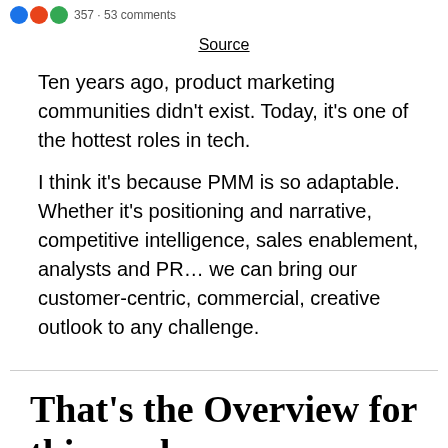357 · 53 comments
Source
Ten years ago, product marketing communities didn't exist. Today, it's one of the hottest roles in tech.
I think it's because PMM is so adaptable. Whether it's positioning and narrative, competitive intelligence, sales enablement, analysts and PR… we can bring our customer-centric, commercial, creative outlook to any challenge.
That's the Overview for this week